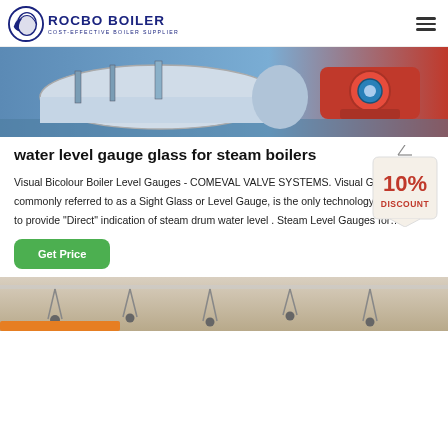ROCBO BOILER - COST-EFFECTIVE BOILER SUPPLIER
[Figure (photo): Industrial steam boiler equipment photo showing a large cylindrical boiler with blue and red machinery components]
water level gauge glass for steam boilers
[Figure (infographic): 10% DISCOUNT badge/tag graphic in red and white]
Visual Bicolour Boiler Level Gauges - COMEVAL VALVE SYSTEMS. Visual Gauge, commonly referred to as a Sight Glass or Level Gauge, is the only technology available to provide "Direct" indication of steam drum water level . Steam Level Gauges for…
Get Price
[Figure (photo): Ceiling industrial equipment photo showing pipes and hanging components]